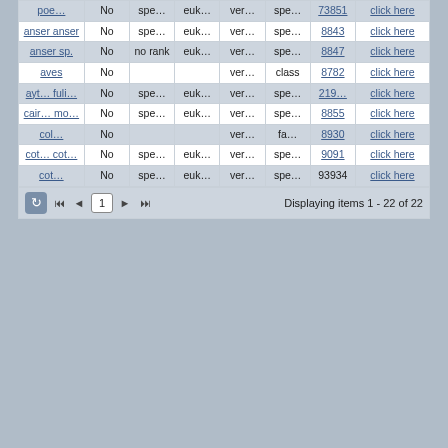| Name | No | Rank1 | Domain | Phylum | Rank2 | ID | Link |
| --- | --- | --- | --- | --- | --- | --- | --- |
| poe… | No | spe… | euk… | ver… | spe… | 73851 | click here |
| anser anser | No | spe… | euk… | ver… | spe… | 8843 | click here |
| anser sp. | No | no rank | euk… | ver… | spe… | 8847 | click here |
| aves | No |  |  | ver… | class | 8782 | click here |
| ayt… fuli… | No | spe… | euk… | ver… | spe… | 219… | click here |
| cair… mo… | No | spe… | euk… | ver… | spe… | 8855 | click here |
| col… | No |  |  | ver… | fa… | 8930 | click here |
| cot… cot… | No | spe… | euk… | ver… | spe… | 9091 | click here |
| cot… | No | spe… | euk… | ver… | spe… | 93934 | click here |